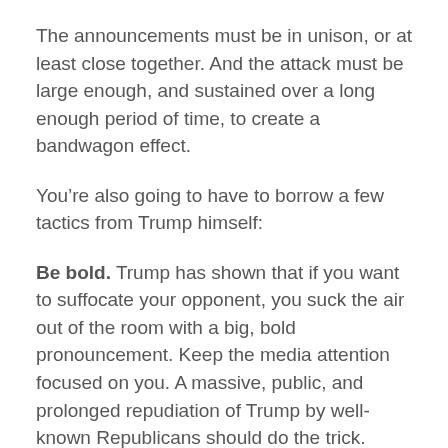The announcements must be in unison, or at least close together. And the attack must be large enough, and sustained over a long enough period of time, to create a bandwagon effect.
You’re also going to have to borrow a few tactics from Trump himself:
Be bold. Trump has shown that if you want to suffocate your opponent, you suck the air out of the room with a big, bold pronouncement. Keep the media attention focused on you. A massive, public, and prolonged repudiation of Trump by well-known Republicans should do the trick.
Attack your opponent’s weakness. It’s been said